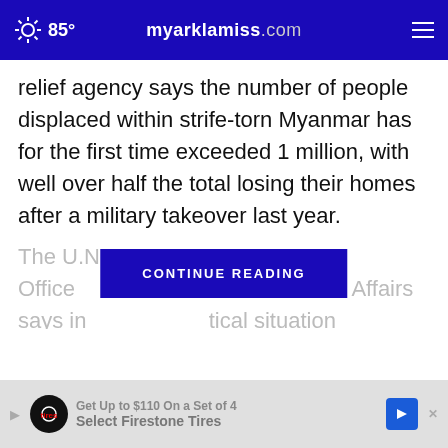85° myarklamiss.com
relief agency says the number of people displaced within strife-torn Myanmar has for the first time exceeded 1 million, with well over half the total losing their homes after a military takeover last year.
The U.N. Office ... Humanitarian Affairs says in ... tical situation
[Figure (other): CONTINUE READING button overlay]
[Figure (other): Audio player pause bars icon and close button]
[Figure (other): Advertisement banner: Get Up to $110 On a Set of 4 Select Firestone Tires]